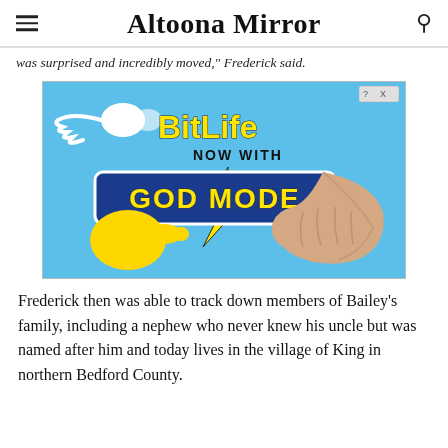Altoona Mirror
was surprised and incredibly moved, Frederick said.
[Figure (illustration): BitLife mobile game advertisement on light blue background showing sperm cell logo, 'BitLife' in yellow text, 'NOW WITH' in black text, 'GOD MODE' in yellow text on blue banner, yellow pointing hand emoji and illustrated human hand pointing at each other.]
Frederick then was able to track down members of Bailey's family, including a nephew who never knew his uncle but was named after him and today lives in the village of King in northern Bedford County.